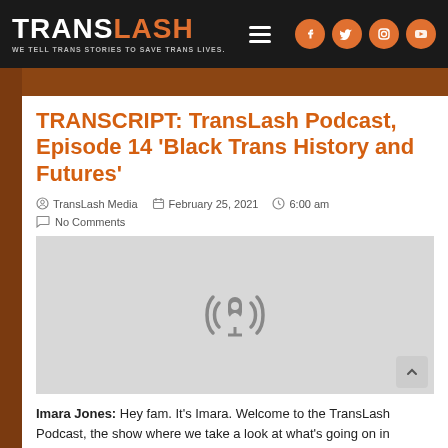TRANSLASH — WE TELL TRANS STORIES TO SAVE TRANS LIVES.
TRANSCRIPT: TransLash Podcast, Episode 14 'Black Trans History and Futures'
TransLash Media  February 25, 2021  6:00 am  No Comments
[Figure (illustration): Podcast placeholder image with a grey background and a podcast microphone/signal icon in the center]
Imara Jones: Hey fam. It's Imara. Welcome to the TransLash Podcast, the show where we take a look at what's going on in